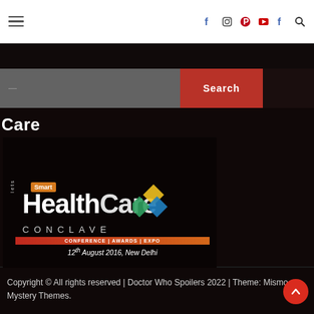Navigation bar with hamburger menu and social icons (Facebook, Instagram, Pinterest, YouTube, Facebook, Search)
[Figure (screenshot): Search bar with dark grey input field and red Search button]
Care
[Figure (photo): Smart HealthCare Conclave event promotional image. Text: Smart HealthCare CONCLAVE | CONFERENCE | AWARDS | EXPO | 12th August 2016, New Delhi. Dark background with coloured diamond logo.]
Copyright © All rights reserved | Doctor Who Spoilers 2022 | Theme: Mismo Mystery Themes.